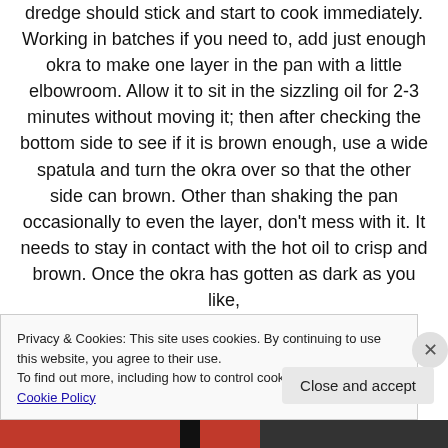dredge should stick and start to cook immediately. Working in batches if you need to, add just enough okra to make one layer in the pan with a little elbowroom. Allow it to sit in the sizzling oil for 2-3 minutes without moving it; then after checking the bottom side to see if it is brown enough, use a wide spatula and turn the okra over so that the other side can brown. Other than shaking the pan occasionally to even the layer, don't mess with it. It needs to stay in contact with the hot oil to crisp and brown. Once the okra has gotten as dark as you like,
Privacy & Cookies: This site uses cookies. By continuing to use this website, you agree to their use.
To find out more, including how to control cookies, see here: Cookie Policy